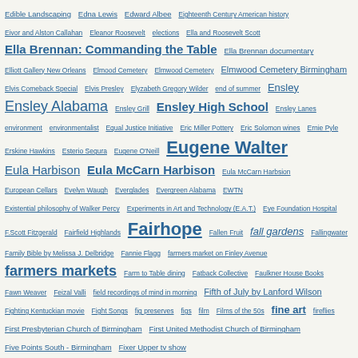Edible Landscaping Edna Lewis Edward Albee Eighteenth Century American history Eivor and Alston Callahan Eleanor Roosevelt elections Ella and Roosevelt Scott Ella Brennan: Commanding the Table Ella Brennan documentary Elliott Gallery New Orleans Elmood Cemetery Elmwood Cemetery Elmwood Cemetery Birmingham Elvis Comeback Special Elvis Presley Elyzabeth Gregory Wilder end of summer Ensley Ensley Alabama Ensley Grill Ensley High School Ensley Lanes environment environmentalist Equal Justice Initiative Eric Miller Pottery Eric Solomon wines Ernie Pyle Erskine Hawkins Esterio Segura Eugene O'Neill Eugene Walter Eula Harbison Eula McCarn Harbison Eula McCarn Harbsion European Cellars Evelyn Waugh Everglades Evergreen Alabama EWTN Existential philosophy of Walker Percy Experiments in Art and Technology (E.A.T.) Eye Foundation Hospital F.Scott Fitzgerald Fairfield Highlands Fairhope Fallen Fruit fall gardens Fallingwater Family Bible by Melissa J. Delbridge Fannie Flagg farmers market on Finley Avenue farmers markets Farm to Table dining Fatback Collective Faulkner House Books Fawn Weaver Feizal Valli field recordings of mind in morning Fifth of July by Lanford Wilson Fighting Kentuckian movie Fight Songs fig preserves figs film Films of the 50s fine art fireflies First Presbyterian Church of Birmingham First United Methodist Church of Birmingham Five Points South - Birmingham Fixer Upper tv show Florence Alabama Foley Alabama folk art folk ballads food Food is Work food memory Food Network foodways Fool for Love by Sam Shepard Football Capital of the South Football season Fortification Street painted house Fort Payne (AL) Francis Ford Coppola Francis X. Walter Frank and Pardis Stitt Frank Flemming sculptor